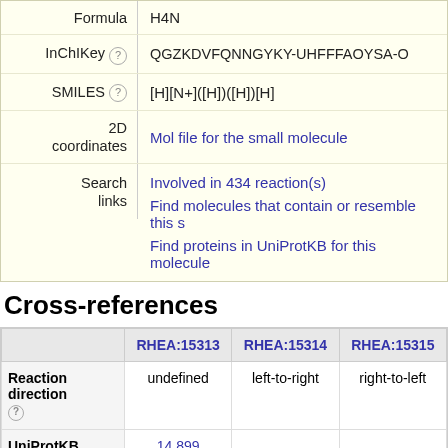| Property | Value |
| --- | --- |
| Formula | H4N |
| InChIKey | QGZKDVFQNNGYKY-UHFFFAOYSA-O |
| SMILES | [H][N+]([H])([H])[H] |
| 2D coordinates | Mol file for the small molecule |
| Search links | Involved in 434 reaction(s)
Find molecules that contain or resemble this s
Find proteins in UniProtKB for this molecule |
Cross-references
|  | RHEA:15313 | RHEA:15314 | RHEA:15315 |
| --- | --- | --- | --- |
| Reaction direction | undefined | left-to-right | right-to-left |
| UniProtKB | 14,899 |  |  |